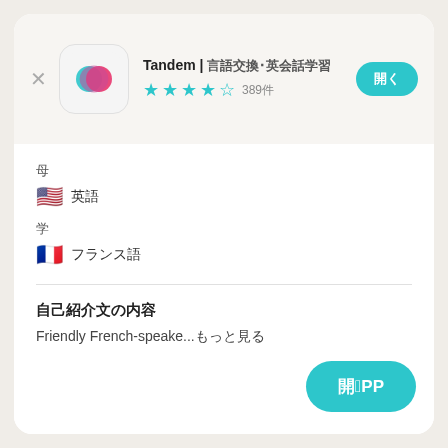Tandem | 言語交換・英会話学習
★★★★½ 389件
開く
母
🇺🇸 英語
学
🇫🇷 フランス語
自己紹介文の内容
Friendly French-speake...もっと見る
開くAPP